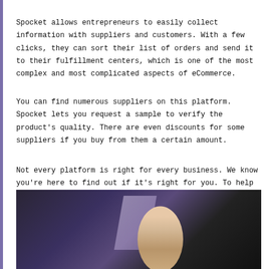Spocket allows entrepreneurs to easily collect information with suppliers and customers. With a few clicks, they can sort their list of orders and send it to their fulfillment centers, which is one of the most complex and most complicated aspects of eCommerce.
You can find numerous suppliers on this platform. Spocket lets you request a sample to verify the product's quality. There are even discounts for some suppliers if you buy from them a certain amount.
Not every platform is right for every business. We know you're here to find out if it's right for you. To help you, let's look into the key areas Spocket helps your business in the next section.
[Figure (photo): Photo of a woman with a ponytail working at a laptop, viewed from above, against a dark background with a light-colored rectangular surface.]